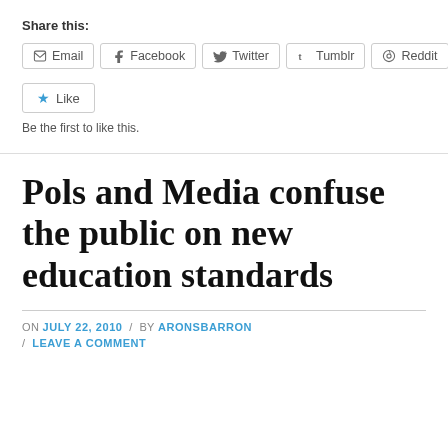Share this:
Email | Facebook | Twitter | Tumblr | Reddit
Like
Be the first to like this.
Pols and Media confuse the public on new education standards
ON JULY 22, 2010 / BY ARONSBARRON / LEAVE A COMMENT